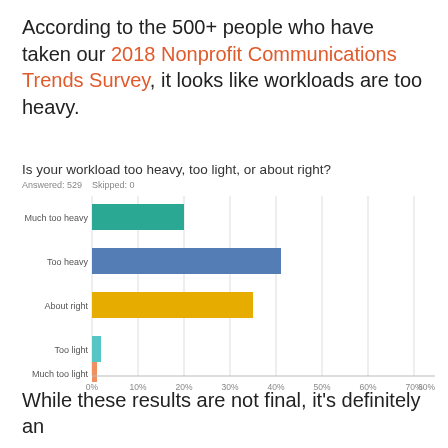According to the 500+ people who have taken our 2018 Nonprofit Communications Trends Survey, it looks like workloads are too heavy.
[Figure (bar-chart): Is your workload too heavy, too light, or about right?]
While these results are not final, it's definitely an